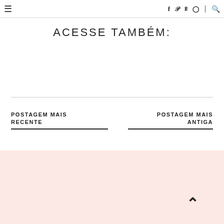≡  f  p  𝕏  ◻  ⋮  🔍
ACESSE TAMBÉM:
POSTAGEM MAIS RECENTE
POSTAGEM MAIS ANTIGA